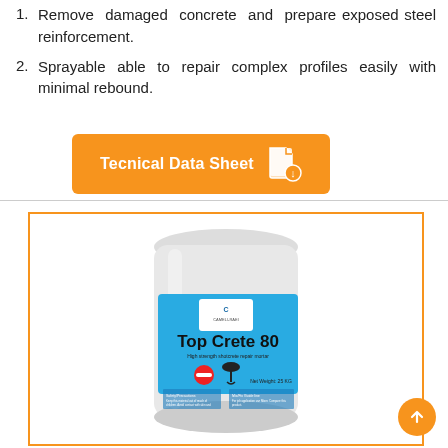1. Remove damaged concrete and prepare exposed steel reinforcement.
2. Sprayable able to repair complex profiles easily with minimal rebound.
[Figure (other): Orange button labeled 'Tecnical Data Sheet' with a PDF icon]
[Figure (photo): Product bag image labeled 'Top Crete 80' with blue label, showing a white sack with product details, safety icons (no-entry and umbrella symbols), and company logo.]